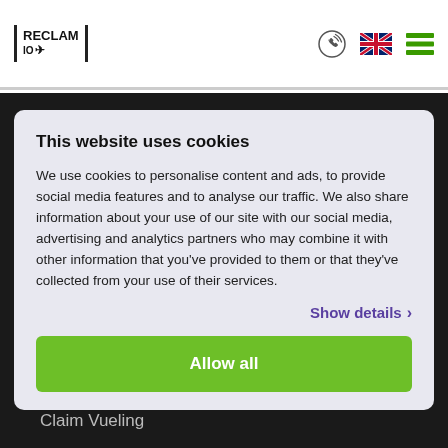RECLAM IO
This website uses cookies
We use cookies to personalise content and ads, to provide social media features and to analyse our traffic. We also share information about your use of our site with our social media, advertising and analytics partners who may combine it with other information that you’ve provided to them or that they’ve collected from your use of their services.
Show details
Allow all
Claim Virgin Atlantic
Claim Flybe
Claim Vueling